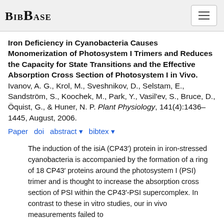BibBase
Iron Deficiency in Cyanobacteria Causes Monomerization of Photosystem I Trimers and Reduces the Capacity for State Transitions and the Effective Absorption Cross Section of Photosystem I in Vivo. Ivanov, A. G., Krol, M., Sveshnikov, D., Selstam, E., Sandström, S., Koochek, M., Park, Y., Vasil'ev, S., Bruce, D., Öquist, G., & Huner, N. P. Plant Physiology, 141(4):1436–1445, August, 2006.
Paper  doi  abstract ▾  bibtex ▾
The induction of the isiA (CP43′) protein in iron-stressed cyanobacteria is accompanied by the formation of a ring of 18 CP43′ proteins around the photosystem I (PSI) trimer and is thought to increase the absorption cross section of PSI within the CP43′-PSI supercomplex. In contrast to these in vitro studies, our in vivo measurements failed to